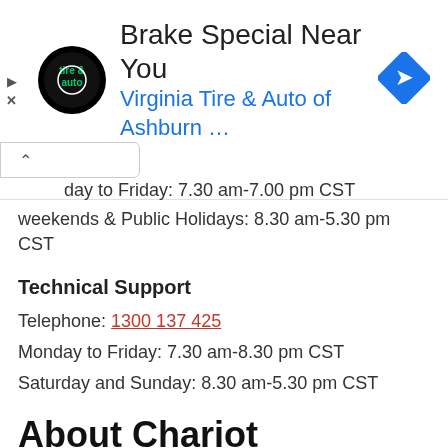[Figure (screenshot): Advertisement banner: Virginia Tire & Auto of Ashburn with logo and blue navigation arrow icon. Shows 'Brake Special Near You' headline and business name. Has ad controls (play/close buttons) and a collapse chevron bar.]
day to Friday: 7.30 am-7.00 pm CST
weekends & Public Holidays: 8.30 am-5.30 pm CST
Technical Support
Telephone: 1300 137 425
Monday to Friday: 7.30 am-8.30 pm CST
Saturday and Sunday: 8.30 am-5.30 pm CST
About Chariot
Chariot Pty. Ltd. provides retail internet and related Service. The Company supplies Internet bandwidth